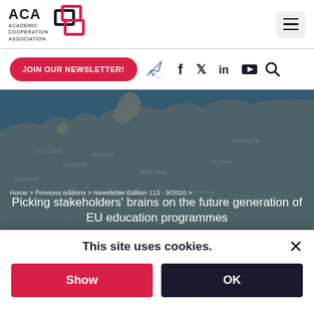ACA Academic Cooperation Association
JOIN OUR NEWSLETTER!
[Figure (screenshot): Map of Europe and Northern Russia used as hero background image]
Home > Previous editions > Newsletter Edition 113 - 9/2010 >
Picking stakeholders' brains on the future generation of EU education programmes
This site uses cookies.
Show
OK